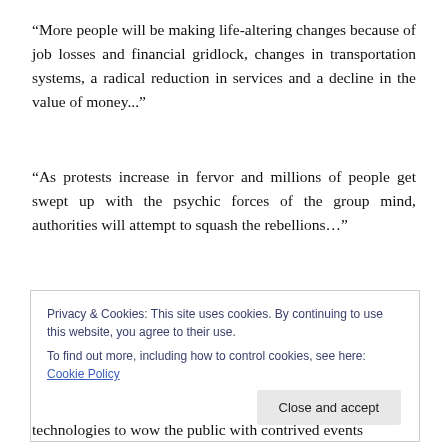“More people will be making life-altering changes because of job losses and financial gridlock, changes in transportation systems, a radical reduction in services and a decline in the value of money...”
“As protests increase in fervor and millions of people get swept up with the psychic forces of the group mind, authorities will attempt to squash the rebellions…”
“As governments, financial institutions, religions and the sciences frantically attempt to hold onto their collapsing
Privacy & Cookies: This site uses cookies. By continuing to use this website, you agree to their use.
To find out more, including how to control cookies, see here: Cookie Policy
technologies to wow the public with contrived events